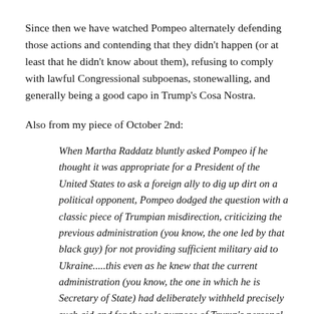Since then we have watched Pompeo alternately defending those actions and contending that they didn't happen (or at least that he didn't know about them), refusing to comply with lawful Congressional subpoenas, stonewalling, and generally being a good capo in Trump's Cosa Nostra.
Also from my piece of October 2nd:
When Martha Raddatz bluntly asked Pompeo if he thought it was appropriate for a President of the United States to ask a foreign ally to dig up dirt on a political opponent, Pompeo dodged the question with a classic piece of Trumpian misdirection, criticizing the previous administration (you know, the one led by that black guy) for not providing sufficient military aid to Ukraine.....this even as he knew that the current administration (you know, the one in which he is Secretary of State) had deliberately withheld precisely such aid and for the sole purpose of Trump's personal gain.